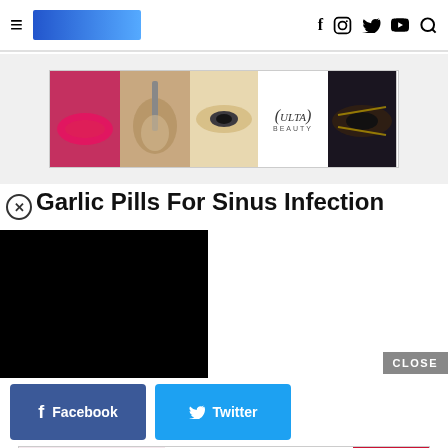Navigation header with hamburger menu, logo, and social icons (Facebook, Instagram, Twitter, YouTube, Search)
[Figure (other): ULTA Beauty advertisement banner showing makeup images (lips, brush, eyes), ULTA logo, and SHOP NOW button]
Garlic Pills For Sinus Infection
[Figure (other): Black video player overlay]
[Figure (other): Facebook share button]
[Figure (other): Twitter share button]
[Figure (other): CLOSE button overlay]
[Figure (other): MAC Cosmetics advertisement banner showing lipsticks, MAC logo, and SHOP NOW box]